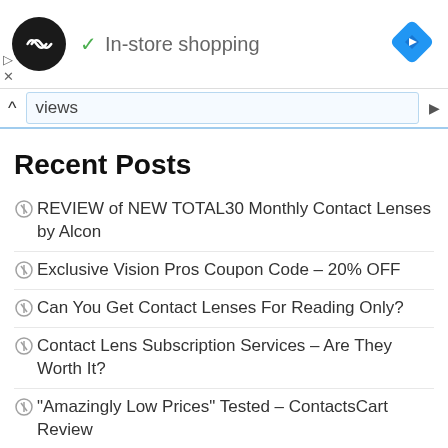[Figure (logo): Black circular logo with double arrow symbol and 'In-store shopping' text with green checkmark; blue diamond navigation icon on right]
views
Recent Posts
REVIEW of NEW TOTAL30 Monthly Contact Lenses by Alcon
Exclusive Vision Pros Coupon Code – 20% OFF
Can You Get Contact Lenses For Reading Only?
Contact Lens Subscription Services – Are They Worth It?
"Amazingly Low Prices" Tested – ContactsCart Review